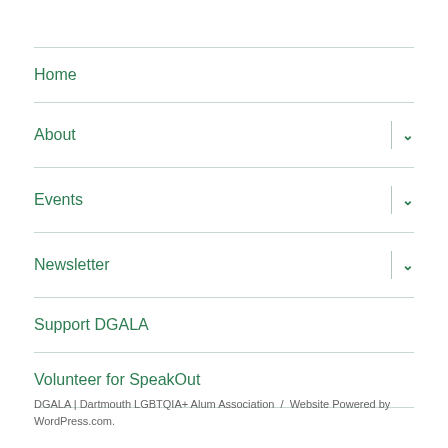Home
About
Events
Newsletter
Support DGALA
Volunteer for SpeakOut
DGALA | Dartmouth LGBTQIA+ Alum Association / Website Powered by WordPress.com.